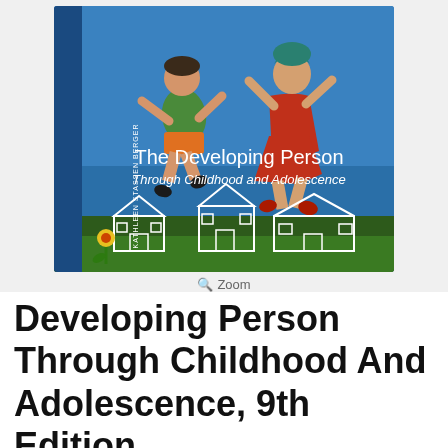[Figure (photo): Book cover of 'The Developing Person Through Childhood and Adolescence' 9th Edition by Kathleen Stassen Berger. Blue background with painted children jumping, chalk-drawn houses at the bottom, and a yellow flower.]
Zoom
Developing Person Through Childhood And Adolescence, 9th Edition
Publisher: Routledge